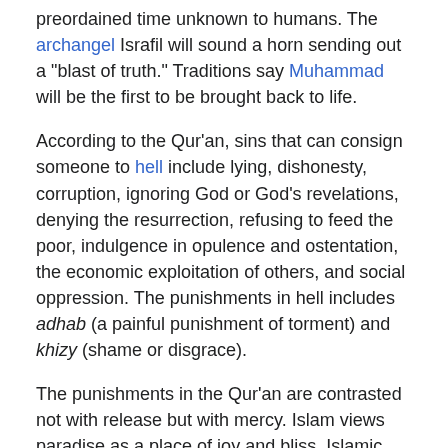preordained time unknown to humans. The archangel Israfil will sound a horn sending out a "blast of truth." Traditions say Muhammad will be the first to be brought back to life.
According to the Qur'an, sins that can consign someone to hell include lying, dishonesty, corruption, ignoring God or God's revelations, denying the resurrection, refusing to feed the poor, indulgence in opulence and ostentation, the economic exploitation of others, and social oppression. The punishments in hell includes adhab (a painful punishment of torment) and khizy (shame or disgrace).
The punishments in the Qur'an are contrasted not with release but with mercy. Islam views paradise as a place of joy and bliss. Islamic descriptions of paradise are described as physical pleasures, sometimes interpreted literally, sometimes allegorically.
The obsini...